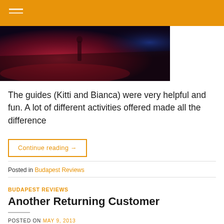[Figure (photo): Dark interior photo with red/pink lighting, showing a stage or dance floor area with dramatic lighting effects]
The guides (Kitti and Bianca) were very helpful and fun. A lot of different activities offered made all the difference
Continue reading →
Posted in Budapest Reviews
BUDAPEST REVIEWS
Another Returning Customer
POSTED ON MAY 9, 2013